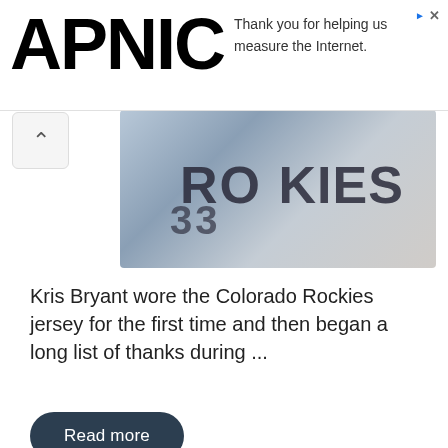APNIC
Thank you for helping us measure the Internet.
[Figure (photo): Person wearing a Colorado Rockies baseball jersey (number partially visible), holding something, with a Nike logo visible on the cap/jersey]
Kris Bryant wore the Colorado Rockies jersey for the first time and then began a long list of thanks during ...
Read more
Luke Voit leaves the